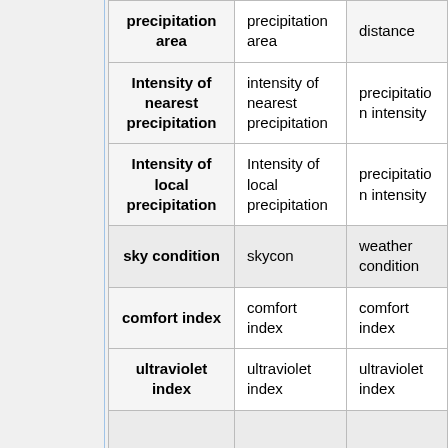| (column 1 - feature name bold) | (column 2 - feature name plain) | (column 3 - category) |
| --- | --- | --- |
| precipitation area | precipitation area | distance |
| Intensity of nearest precipitation | intensity of nearest precipitation | precipitation intensity |
| Intensity of local precipitation | Intensity of local precipitation | precipitation intensity |
| sky condition | skycon | weather condition |
| comfort index | comfort index | comfort index |
| ultraviolet index | ultraviolet index | ultraviolet index |
|  |  |  |